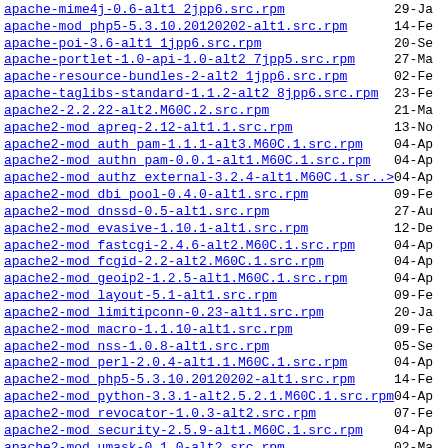apache-mime4j-0.6-alt1 2jpp6.src.rpm   29-Jan
apache-mod php5-5.3.10.20120202-alt1.src.rpm   14-Feb
apache-poi-3.6-alt1 1jpp6.src.rpm   20-Sep
apache-portlet-1.0-api-1.0-alt2 7jpp5.src.rpm   27-Mar
apache-resource-bundles-2-alt2 1jpp6.src.rpm   02-Feb
apache-taglibs-standard-1.1.2-alt2 8jpp6.src.rpm   23-Feb
apache2-2.2.22-alt2.M60C.2.src.rpm   21-May
apache2-mod apreq-2.12-alt1.1.src.rpm   13-Nov
apache2-mod auth pam-1.1.1-alt3.M60C.1.src.rpm   04-Apr
apache2-mod authn pam-0.0.1-alt1.M60C.1.src.rpm   04-Apr
apache2-mod authz external-3.2.4-alt1.M60C.1.sr..>   04-Apr
apache2-mod dbi pool-0.4.0-alt1.src.rpm   09-Feb
apache2-mod dnssd-0.5-alt1.src.rpm   27-Aug
apache2-mod evasive-1.10.1-alt1.src.rpm   12-Dec
apache2-mod fastcgi-2.4.6-alt2.M60C.1.src.rpm   04-Apr
apache2-mod fcgid-2.2-alt2.M60C.1.src.rpm   04-Apr
apache2-mod geoip2-1.2.5-alt1.M60C.1.src.rpm   04-Apr
apache2-mod layout-5.1-alt1.src.rpm   09-Feb
apache2-mod limitipconn-0.23-alt1.src.rpm   20-Jan
apache2-mod macro-1.1.10-alt1.src.rpm   09-Feb
apache2-mod nss-1.0.8-alt1.src.rpm   05-Sep
apache2-mod perl-2.0.4-alt1.1.M60C.1.src.rpm   04-Apr
apache2-mod php5-5.3.10.20120202-alt1.src.rpm   14-Feb
apache2-mod python-3.3.1-alt2.5.2.1.M60C.1.src.rpm   04-Apr
apache2-mod revocator-1.0.3-alt2.src.rpm   07-Feb
apache2-mod security-2.5.9-alt1.M60C.1.src.rpm   04-Apr
apache2-mod umask-0.1.0-alt2.src.rpm   02-Mar
apache2-mod vdbh-1.0.3-alt1.1.src.rpm   06-Dec
apache2-mod vhost dbi-0.1.0-alt1.src.rpm   10-Feb
apache2-mod vhost limit-0.2-alt1.src.rpm   09-Feb